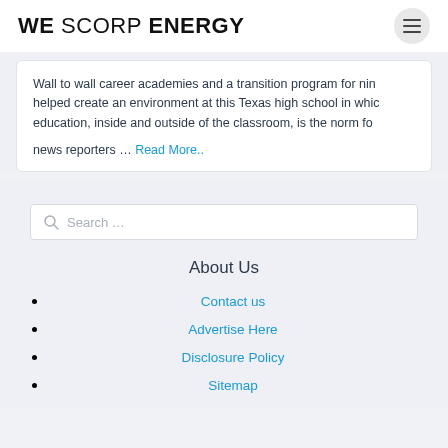WE SCORP ENERGY
Wall to wall career academies and a transition program for nin... helped create an environment at this Texas high school in whic... education, inside and outside of the classroom, is the norm fo...
news reporters ... Read More..
Search ...
About Us
Contact us
Advertise Here
Disclosure Policy
Sitemap